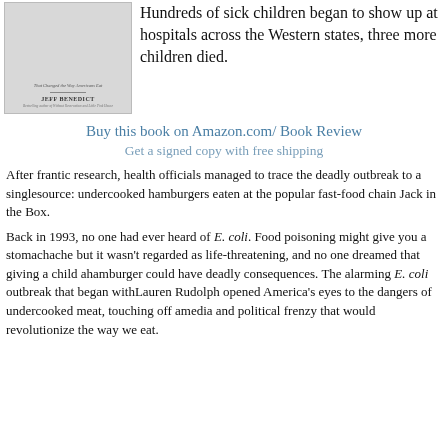[Figure (photo): Book cover showing the title 'That Changed the Way Americans Eat', author name JEFF BENEDICT, and byline 'Bestselling author of Without Reservation and Little Pink House']
Hundreds of sick children began to show up at hospitals across the Western states, three more children died.
Buy this book on Amazon.com/ Book Review
Get a signed copy with free shipping
After frantic research, health officials managed to trace the deadly outbreak to a singlesource: undercooked hamburgers eaten at the popular fast-food chain Jack in the Box.
Back in 1993, no one had ever heard of E. coli. Food poisoning might give you a stomachache but it wasn't regarded as life-threatening, and no one dreamed that giving a child ahamburger could have deadly consequences. The alarming E. coli outbreak that began withLauren Rudolph opened America's eyes to the dangers of undercooked meat, touching off amedia and political frenzy that would revolutionize the way we eat.